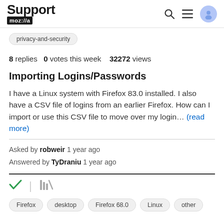Support moz://a
privacy-and-security
8 replies  0 votes this week  32272 views
Importing Logins/Passwords
I have a Linux system with Firefox 83.0 installed. I also have a CSV file of logins from an earlier Firefox. How can I import or use this CSV file to move over my login… (read more)
Asked by robweir 1 year ago
Answered by TyDraniu 1 year ago
Firefox  desktop  Firefox 68.0  Linux  other